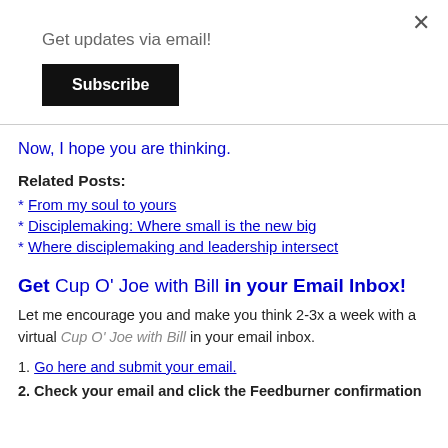×
Get updates via email!
[Figure (other): Black Subscribe button]
Now, I hope you are thinking.
Related Posts:
* From my soul to yours
* Disciplemaking: Where small is the new big
* Where disciplemaking and leadership intersect
Get Cup O' Joe with Bill in your Email Inbox!
Let me encourage you and make you think 2-3x a week with a virtual Cup O' Joe with Bill in your email inbox.
1. Go here and submit your email.
2. Check your email and click the Feedburner confirmation